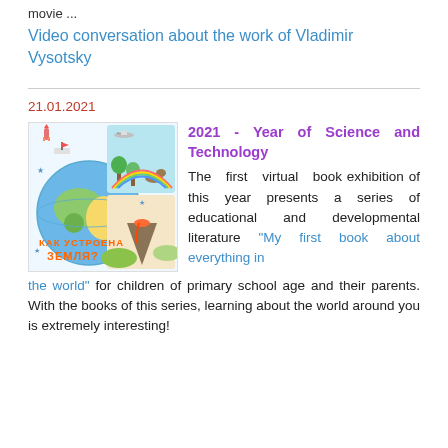movie ...
Video conversation about the work of Vladimir Vysotsky
21.01.2021
[Figure (illustration): Book cover illustration showing a colorful globe with various scenes including an airplane, trees, dinosaurs, and a rainbow. Text on cover reads КАК УСТРОЕНА ЗЕМЛЯ?]
2021 - Year of Science and Technology
The first virtual book exhibition of this year presents a series of educational and developmental literature "My first book about everything in the world" for children of primary school age and their parents. With the books of this series, learning about the world around you is extremely interesting!